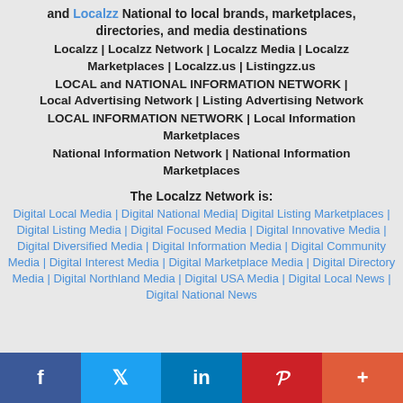and Localzz National to local brands, marketplaces, directories, and media destinations
Localzz | Localzz Network | Localzz Media | Localzz Marketplaces | Localzz.us | Listingzz.us
LOCAL and NATIONAL INFORMATION NETWORK | Local Advertising Network | Listing Advertising Network
LOCAL INFORMATION NETWORK | Local Information Marketplaces
National Information Network | National Information Marketplaces
The Localzz Network is:
Digital Local Media | Digital National Media | Digital Listing Marketplaces | Digital Listing Media | Digital Focused Media | Digital Innovative Media | Digital Diversified Media | Digital Information Media | Digital Community Media | Digital Interest Media | Digital Marketplace Media | Digital Directory Media | Digital Northland Media | Digital USA Media | Digital Local News | Digital National News
f | Twitter | in | P | +